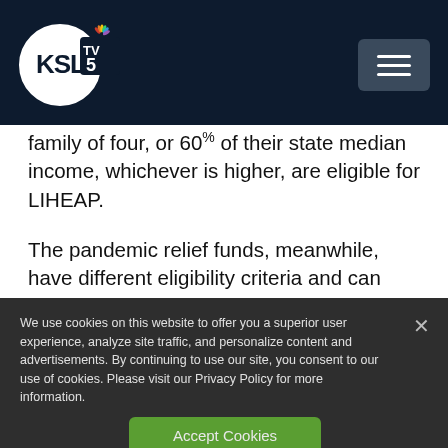[Figure (logo): KSL TV 5 NBC logo with navigation hamburger menu button on dark navy header bar]
family of four, or 60% of their state median income, whichever is higher, are eligible for LIHEAP.
The pandemic relief funds, meanwhile, have different eligibility criteria and can help a
We use cookies on this website to offer you a superior user experience, analyze site traffic, and personalize content and advertisements. By continuing to use our site, you consent to our use of cookies. Please visit our Privacy Policy for more information.
Accept Cookies